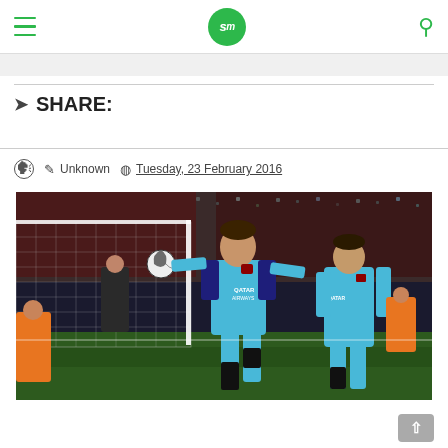SM logo, hamburger menu, search icon
SHARE:
Unknown  Tuesday, 23 February 2016
[Figure (photo): Lionel Messi celebrating a goal in a blue Barcelona QATAR AIRWAYS jersey, arms outstretched, with a football near the goalpost net. Luis Suarez visible in background also celebrating, crowd and stadium in background.]